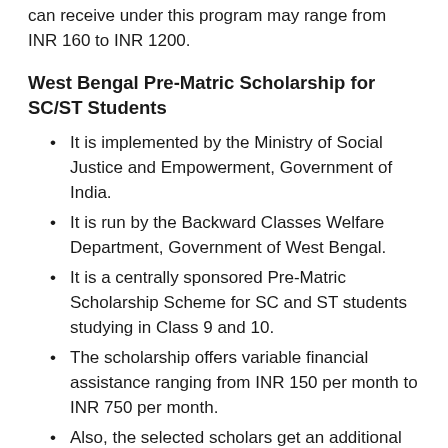can receive under this program may range from INR 160 to INR 1200.
West Bengal Pre-Matric Scholarship for SC/ST Students
It is implemented by the Ministry of Social Justice and Empowerment, Government of India.
It is run by the Backward Classes Welfare Department, Government of West Bengal.
It is a centrally sponsored Pre-Matric Scholarship Scheme for SC and ST students studying in Class 9 and 10.
The scholarship offers variable financial assistance ranging from INR 150 per month to INR 750 per month.
Also, the selected scholars get an additional ad-hoc grant of up to INR 1000 per annum.